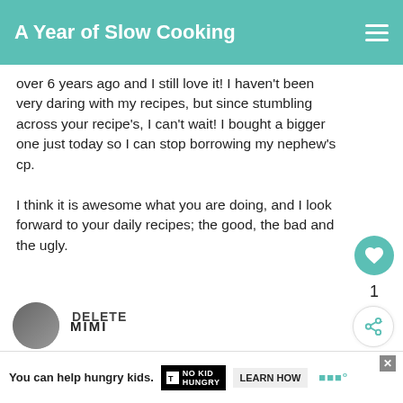A Year of Slow Cooking
over 6 years ago and I still love it! I haven't been very daring with my recipes, but since stumbling across your recipe's, I can't wait! I bought a bigger one just today so I can stop borrowing my nephew's cp.

I think it is awesome what you are doing, and I look forward to your daily recipes; the good, the bad and the ugly.
DELETE
WHAT'S NEXT → Baked Banana Bread...
MIMI
You can help hungry kids. NO KID HUNGRY LEARN HOW